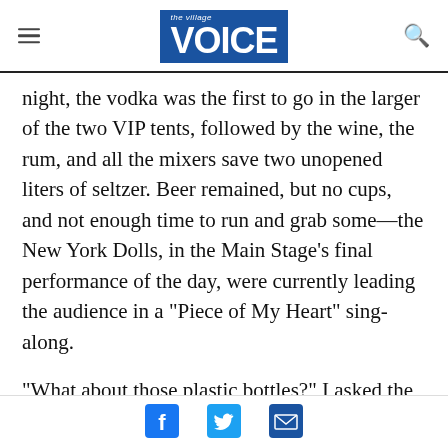the village VOICE
night, the vodka was the first to go in the larger of the two VIP tents, followed by the wine, the rum, and all the mixers save two unopened liters of seltzer. Beer remained, but no cups, and not enough time to run and grab some—the New York Dolls, in the Main Stage’s final performance of the day, were currently leading the audience in a “Piece of My Heart” sing-along.
“What about those plastic bottles?” I asked the sweaty, browbeaten bartender, pointing to the seltzer. He cocked his head to the side and pointed
Facebook Twitter Email